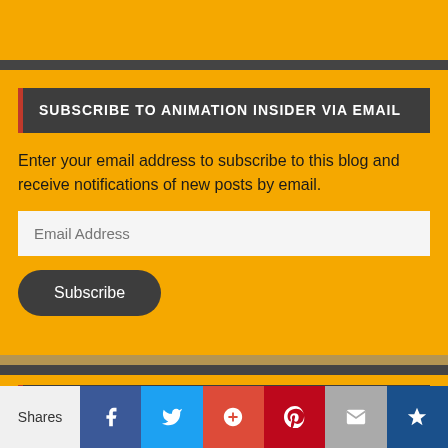SUBSCRIBE TO ANIMATION INSIDER VIA EMAIL
Enter your email address to subscribe to this blog and receive notifications of new posts by email.
TOP POSTS & PAGES
Tabook- NSFW
Shares | Facebook | Twitter | Google+ | Pinterest | Email | Crown